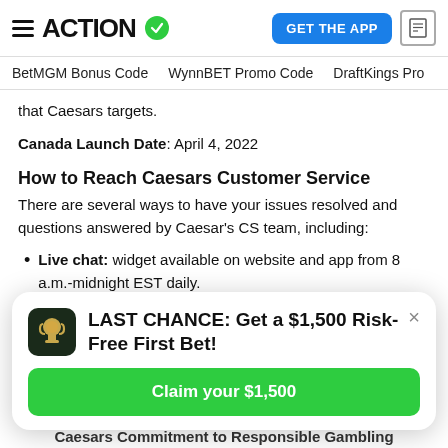ACTION (logo with checkmark) | GET THE APP | document icon
BetMGM Bonus Code   WynnBET Promo Code   DraftKings Pro
that Caesars targets.
Canada Launch Date: April 4, 2022
How to Reach Caesars Customer Service
There are several ways to have your issues resolved and questions answered by Caesar's CS team, including:
Live chat: widget available on website and app from 8 a.m.-midnight EST daily.
[Figure (other): Promotional popup: LAST CHANCE: Get a $1,500 Risk-Free First Bet! with a Claim your $1,500 green button and a trophy icon]
Caesars Commitment to Responsible Gambling